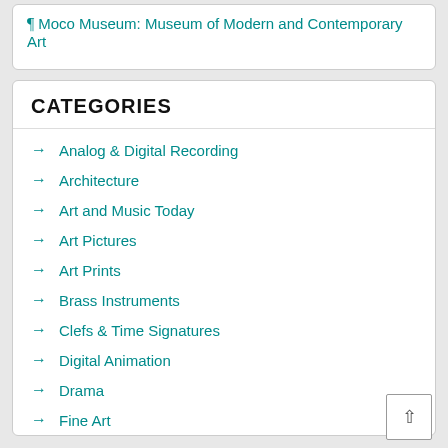Moco Museum: Museum of Modern and Contemporary Art
CATEGORIES
Analog & Digital Recording
Architecture
Art and Music Today
Art Pictures
Art Prints
Brass Instruments
Clefs & Time Signatures
Digital Animation
Drama
Fine Art